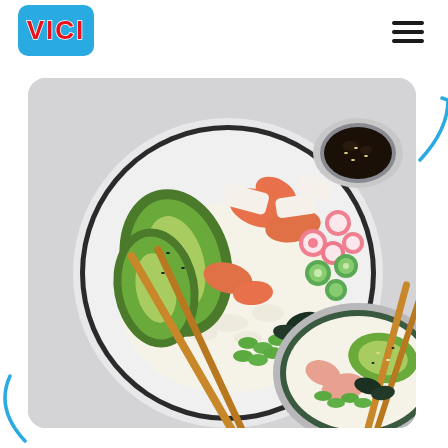[Figure (logo): VICI brand logo in red text on blue rounded rectangle background]
[Figure (photo): Overhead view of two poke bowls with rice, avocado, salmon, crab sticks, radishes, cucumber, edamame, and seaweed, with chopsticks resting on the bowls, and a small bowl of soy sauce beside them, on a light grey surface]